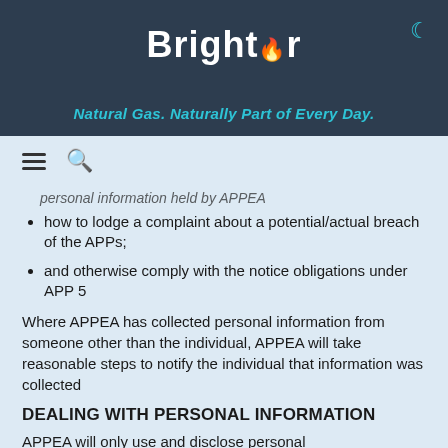[Figure (logo): Brightr logo in white on dark blue-grey background with cyan flame dot]
Natural Gas. Naturally Part of Every Day.
[Figure (other): Navigation bar with hamburger menu and search icon]
personal information held by APPEA
how to lodge a complaint about a potential/actual breach of the APPs;
and otherwise comply with the notice obligations under APP 5
Where APPEA has collected personal information from someone other than the individual, APPEA will take reasonable steps to notify the individual that information was collected
DEALING WITH PERSONAL INFORMATION
APPEA will only use and disclose personal information for the purpose for which it was collected